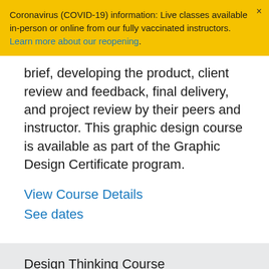Coronavirus (COVID-19) information: Live classes available in-person or online from our fully vaccinated instructors. Learn more about our reopening.
brief, developing the product, client review and feedback, final delivery, and project review by their peers and instructor. This graphic design course is available as part of the Graphic Design Certificate program.
View Course Details
See dates
Design Thinking Course
Learn Design Thinking principles that are